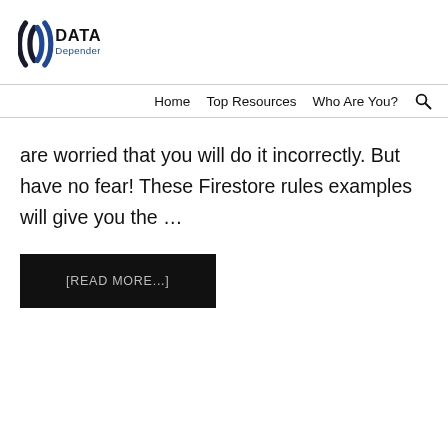[Figure (logo): Data Dependence logo with stylized X bracket shapes in dark blue/black and the text DATA Dependence]
Home   Top Resources   Who Are You?
are worried that you will do it incorrectly. But have no fear! These Firestore rules examples will give you the ...
[READ MORE...]